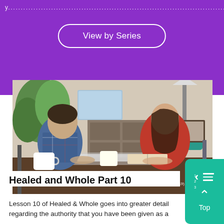View by Series
[Figure (screenshot): Two people sitting at a wooden table in a living room setting, man in plaid shirt on the left, woman in red on the right, with mugs and books on the table. Watermark reads '+1 (719) 600-3344 terradez']
Healed and Whole Part 10
Lesson 10 of Healed & Whole goes into greater detail regarding the authority that you have been given as a